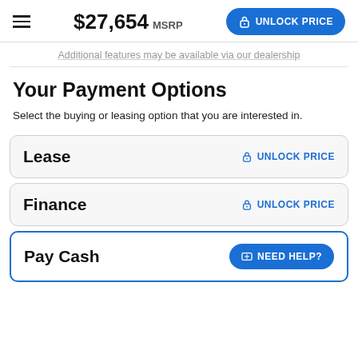$27,654 MSRP UNLOCK PRICE
Additional features may be available via our dealership
Your Payment Options
Select the buying or leasing option that you are interested in.
Lease — UNLOCK PRICE
Finance — UNLOCK PRICE
Pay Cash — NEED HELP?